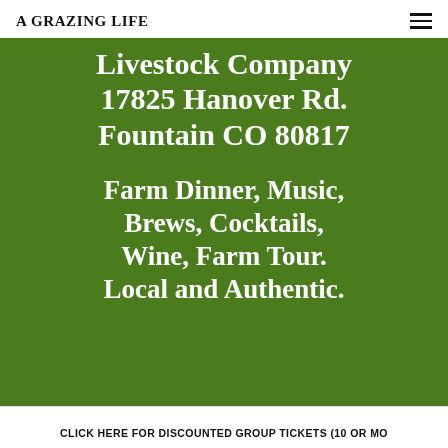A GRAZING LIFE
Livestock Company 17825 Hanover Rd. Fountain CO 80817
Farm Dinner, Music, Brews, Cocktails, Wine, Farm Tour. Local and Authentic.
CLICK HERE FOR DISCOUNTED GROUP TICKETS (10 OR MO